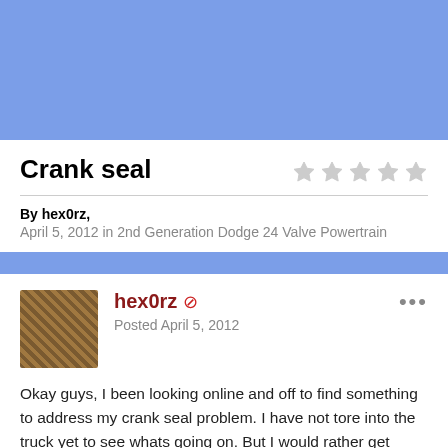[Figure (other): Blue banner header area]
Crank seal
By hex0rz,
April 5, 2012 in 2nd Generation Dodge 24 Valve Powertrain
[Figure (photo): User avatar photo of hex0rz - brown textured image]
hex0rz
Posted April 5, 2012
Okay guys, I been looking online and off to find something to address my crank seal problem. I have not tore into the truck yet to see whats going on. But I would rather get equipped with the necessary parts just in case. Nothing worse than opening things up and taking the time to do it and by the time you realize you need something, the stores are